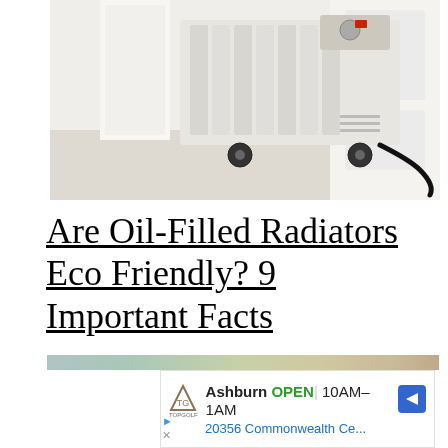[Figure (photo): Photo of an oil-filled radiator heater on wheels with a power cord plugged in, set against a white wall and light hardwood floor background]
Are Oil-Filled Radiators Eco Friendly? 9 Important Facts
[Figure (screenshot): Advertisement for Topgolf Ashburn showing logo, OPEN status, hours 10AM-1AM, address 20356 Commonwealth Ce..., with navigation arrow icon and ad disclosure icons]